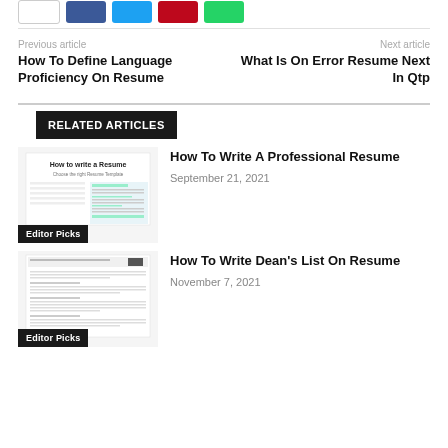[Figure (other): Social share buttons: white, Facebook blue, Twitter cyan, Pinterest red, WhatsApp green]
Previous article
How To Define Language Proficiency On Resume
Next article
What Is On Error Resume Next In Qtp
RELATED ARTICLES
[Figure (screenshot): Thumbnail image showing 'How to write a Resume - Choose the right Resume Template' with resume layout preview. Label: Editor Picks]
How To Write A Professional Resume
September 21, 2021
[Figure (screenshot): Thumbnail image of a dean's list resume document. Label: Editor Picks]
How To Write Dean's List On Resume
November 7, 2021